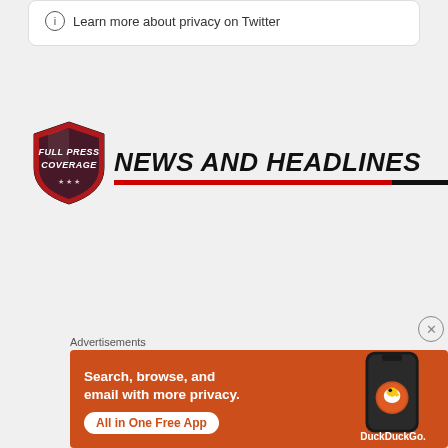ⓘ Learn more about privacy on Twitter
[Figure (logo): Full Press Coverage shield logo with text 'FULL PRESS COVERAGE' on a red and dark shield badge]
NEWS AND HEADLINES
Advertisements
[Figure (illustration): DuckDuckGo advertisement banner on orange background. Text: 'Search, browse, and email with more privacy. All in One Free App'. Shows a smartphone with DuckDuckGo logo and 'DuckDuckGo.' text.]